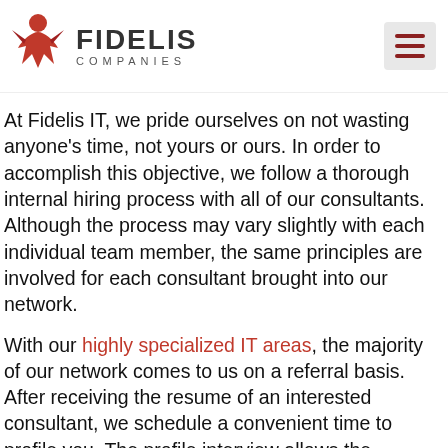[Figure (logo): Fidelis Companies logo with red figure icon and company name]
At Fidelis IT, we pride ourselves on not wasting anyone's time, not yours or ours. In order to accomplish this objective, we follow a thorough internal hiring process with all of our consultants. Although the process may vary slightly with each individual team member, the same principles are involved for each consultant brought into our network.
With our highly specialized IT areas, the majority of our network comes to us on a referral basis. After receiving the resume of an interested consultant, we schedule a convenient time to profile you. The profile interview allows the recruiter to gain additional insight about